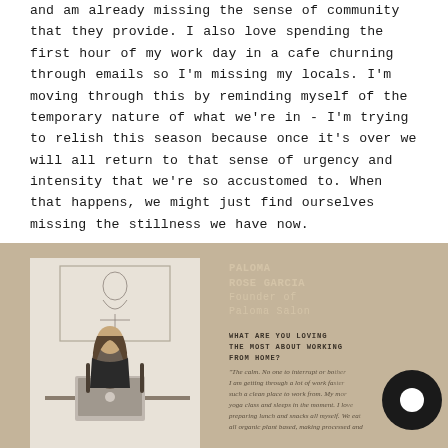and am already missing the sense of community that they provide. I also love spending the first hour of my work day in a cafe churning through emails so I'm missing my locals. I'm moving through this by reminding myself of the temporary nature of what we're in - I'm trying to relish this season because once it's over we will all return to that sense of urgency and intensity that we're so accustomed to. When that happens, we might just find ourselves missing the stillness we have now.
[Figure (photo): A tan/beige section with a black and white photo on the left showing a woman with long hair sitting at a desk working on a laptop, with a framed line-art drawing on the wall behind her. On the right is text with a person's name and interview Q&A. A large black circle icon appears in the bottom right.]
PALOMA ROSE GARCIA Founder of Paloma Salon
WHAT ARE YOU LOVING THE MOST ABOUT WORKING FROM HOME?
"The calm. No one to interrupt or bother me. I am getting through a lot of work faster and such a clean place to work from. My morning yoga class and sleeping in the moment. I love preparing lunch and snacks all myself. We eat all organic plant based, making processed and